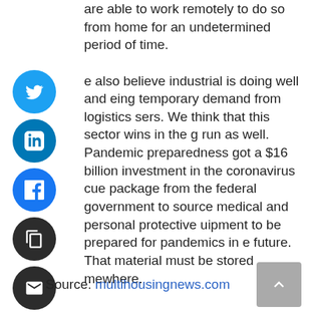are able to work remotely to do so from home for an undetermined period of time. We also believe industrial is doing well and seeing temporary demand from logistics users. We think that this sector wins in the long run as well. Pandemic preparedness got a $16 billion investment in the coronavirus rescue package from the federal government to source medical and personal protective equipment to be prepared for pandemics in the future. That material must be stored somewhere.
[Figure (other): Social sharing buttons: Twitter, LinkedIn, Facebook, Copy, Email, Print, and a plus/more button stacked vertically on the left side of the page.]
Source: multihousingnews.com